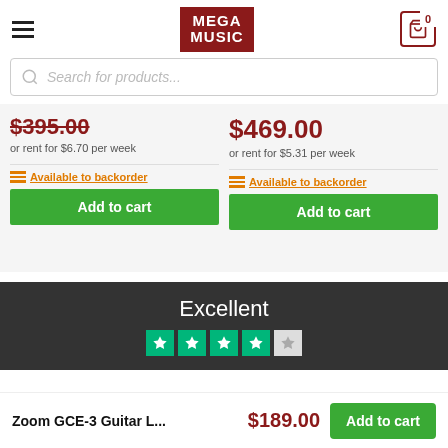[Figure (logo): Mega Music logo in red box with white text]
Search for products...
$395.00
or rent for $6.70 per week
Available to backorder
Add to cart
$469.00
or rent for $5.31 per week
Available to backorder
Add to cart
Excellent
Zoom GCE-3 Guitar L... $189.00 Add to cart